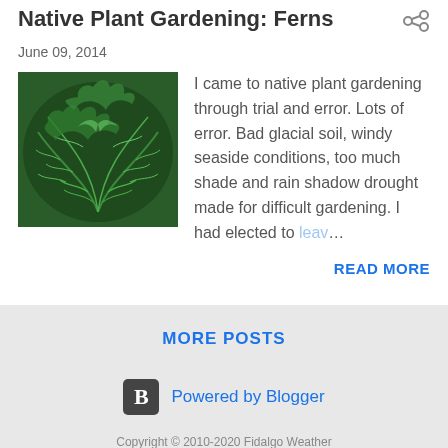Native Plant Gardening: Ferns
June 09, 2014
[Figure (photo): Close-up photo of green fern fronds]
I came to native plant gardening through trial and error.  Lots of error.  Bad glacial soil, windy seaside conditions, too much shade and rain shadow drought made for difficult gardening.  I had elected to leav…
READ MORE
MORE POSTS
Powered by Blogger
Copyright © 2010-2020 Fidalgo Weather